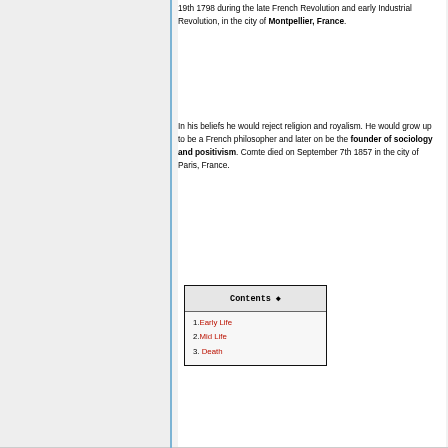19th 1798 during the late French Revolution and early Industrial Revolution, in the city of Montpellier, France.
In his beliefs he would reject religion and royalism. He would grow up to be a French philosopher and later on be the founder of sociology and positivism. Comte died on September 7th 1857 in the city of Paris, France.
| Contents |
| --- |
| 1. Early Life |
| 2. Mid Life |
| 3. Death |